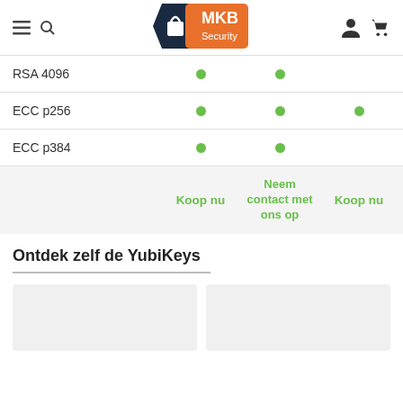MKB Security – navigation header with logo
| Feature | Col1 | Col2 | Col3 |
| --- | --- | --- | --- |
| RSA 4096 | • | • |  |
| ECC p256 | • | • | • |
| ECC p384 | • | • |  |
|  | Action1 | Action2 | Action3 |
| --- | --- | --- | --- |
|  | Koop nu | Neem contact met ons op | Koop nu |
Ontdek zelf de YubiKeys
[Figure (photo): Two product card placeholders (light gray boxes)]